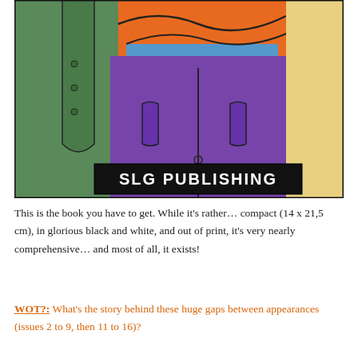[Figure (illustration): Comic book cover illustration showing a figure in a purple jacket with arms crossed wearing an orange shirt, with a green-suited figure to the left, and a colorful background with buildings and a palm tree. A black banner at the bottom reads 'SLG PUBLISHING' in white bold text.]
This is the book you have to get. While it's rather... compact (14 x 21,5 cm), in glorious black and white, and out of print, it's very nearly comprehensive... and most of all, it exists!
WOT?: What's the story behind these huge gaps between appearances (issues 2 to 9, then 11 to 16)?